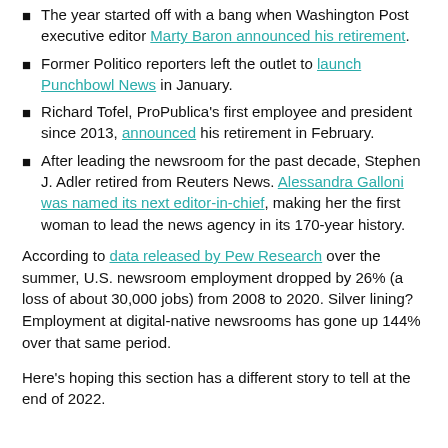The year started off with a bang when Washington Post executive editor Marty Baron announced his retirement.
Former Politico reporters left the outlet to launch Punchbowl News in January.
Richard Tofel, ProPublica's first employee and president since 2013, announced his retirement in February.
After leading the newsroom for the past decade, Stephen J. Adler retired from Reuters News. Alessandra Galloni was named its next editor-in-chief, making her the first woman to lead the news agency in its 170-year history.
According to data released by Pew Research over the summer, U.S. newsroom employment dropped by 26% (a loss of about 30,000 jobs) from 2008 to 2020. Silver lining? Employment at digital-native newsrooms has gone up 144% over that same period.
Here's hoping this section has a different story to tell at the end of 2022.